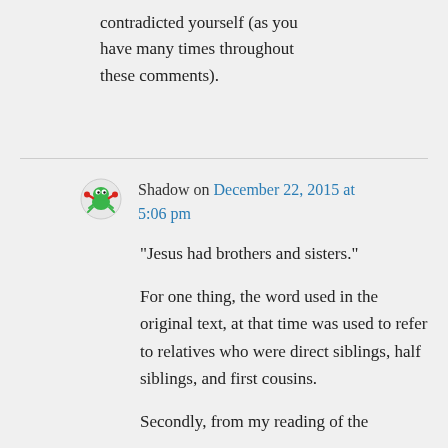contradicted yourself (as you have many times throughout these comments).
Shadow on December 22, 2015 at 5:06 pm
“Jesus had brothers and sisters.”
For one thing, the word used in the original text, at that time was used to refer to relatives who were direct siblings, half siblings, and first cousins.
Secondly, from my reading of the